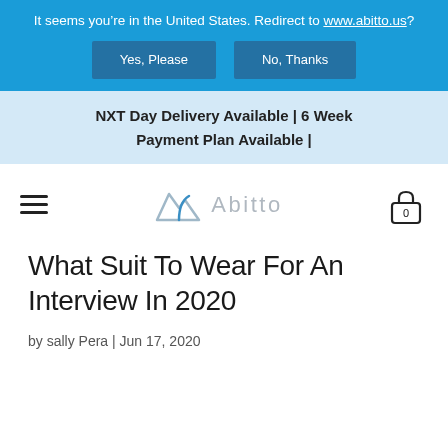It seems you’re in the United States. Redirect to www.abitto.us?
Yes, Please | No, Thanks
NXT Day Delivery Available | 6 Week Payment Plan Available |
[Figure (logo): Abitto logo with mountain/arch icon and text 'Abitto', plus hamburger menu and cart icon with 0]
What Suit To Wear For An Interview In 2020
by sally Pera | Jun 17, 2020